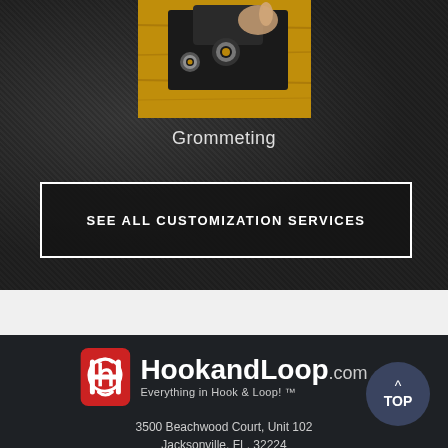[Figure (photo): Close-up photo of a grommet being installed on dark fabric on a wooden surface]
Grommeting
SEE ALL CUSTOMIZATION SERVICES
[Figure (logo): HookandLoop.com logo — red rounded rectangle with white H icon, bold white text 'HookandLoop.com', tagline 'Everything in Hook & Loop! TM']
3500 Beachwood Court, Unit 102
Jacksonville, FL. 32224